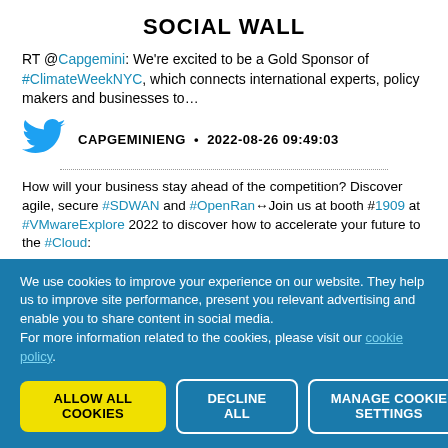SOCIAL WALL
RT @Capgemini: We're excited to be a Gold Sponsor of #ClimateWeekNYC, which connects international experts, policy makers and businesses to…
CAPGEMINIENG • 2022-08-26 09:49:03
How will your business stay ahead of the competition? Discover agile, secure #SDWAN and #OpenRan🔁Join us at booth #1909 at #VMwareExplore 2022 to discover how to accelerate your future to the #Cloud:
We use cookies to improve your experience on our website. They help us to improve site performance, present you relevant advertising and enable you to share content in social media.
For more information related to the cookies, please visit our cookie policy.
ALLOW ALL COOKIES
DECLINE ALL
MANAGE COOKIE SETTINGS